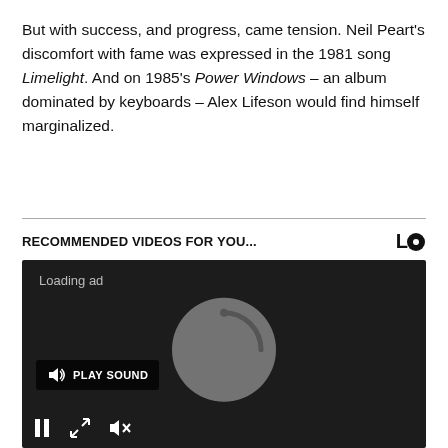But with success, and progress, came tension. Neil Peart's discomfort with fame was expressed in the 1981 song Limelight. And on 1985's Power Windows – an album dominated by keyboards – Alex Lifeson would find himself marginalized.
RECOMMENDED VIDEOS FOR YOU...
[Figure (screenshot): Video player with dark background showing 'Loading ad' text, a loading spinner circle in the center, a 'PLAY SOUND' button with speaker icon on the left, and playback controls (pause, expand, mute) at the bottom.]